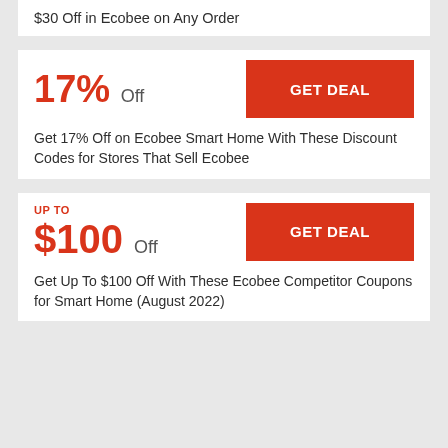$30 Off in Ecobee on Any Order
17% Off
GET DEAL
Get 17% Off on Ecobee Smart Home With These Discount Codes for Stores That Sell Ecobee
UP TO $100 Off
GET DEAL
Get Up To $100 Off With These Ecobee Competitor Coupons for Smart Home (August 2022)